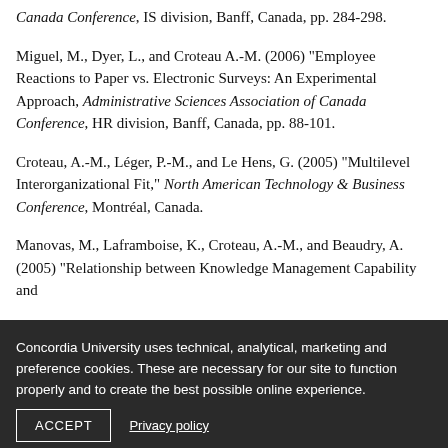Canada Conference, IS division, Banff, Canada, pp. 284-298.
Miguel, M., Dyer, L., and Croteau A.-M. (2006) "Employee Reactions to Paper vs. Electronic Surveys: An Experimental Approach, Administrative Sciences Association of Canada Conference, HR division, Banff, Canada, pp. 88-101.
Croteau, A.-M., Léger, P.-M., and Le Hens, G. (2005) "Multilevel Interorganizational Fit," North American Technology & Business Conference, Montréal, Canada.
Manovas, M., Laframboise, K., Croteau, A.-M., and Beaudry, A. (2005) "Relationship between Knowledge Management Capability and
Concordia University uses technical, analytical, marketing and preference cookies. These are necessary for our site to function properly and to create the best possible online experience.